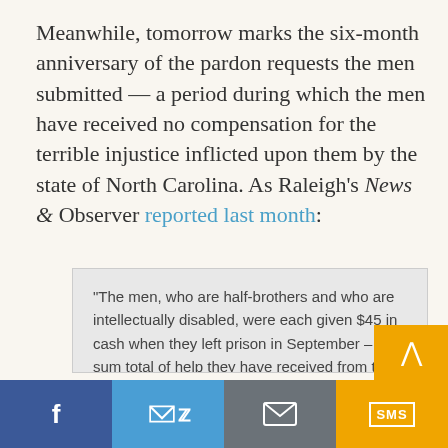Meanwhile, tomorrow marks the six-month anniversary of the pardon requests the men submitted — a period during which the men have received no compensation for the terrible injustice inflicted upon them by the state of North Carolina. As Raleigh's News & Observer reported last month:
“The men, who are half-brothers and who are intellectually disabled, were each given $45 in cash when they left prison in September – the sum total of help they have received from the state. They live in Fayetteville with their sister, who struggles to pay the rent and keep the light and
[Figure (infographic): Social sharing bar at bottom with Facebook (blue), Twitter (light blue), Email (gray), SMS (yellow) buttons, and a back-to-top arrow button in yellow]